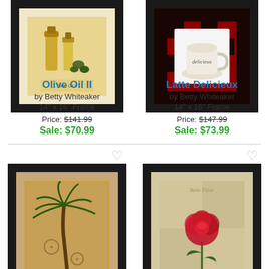[Figure (illustration): Framed artwork of olive oil bottles and produce - Olive Oil II by Betty Whiteaker, 14x16 frame]
Olive Oil II
by Betty Whiteaker
14" x 16" Frame
Price: $141.99
Sale: $70.99
[Figure (illustration): Framed artwork of coffee cup with 'delicieux' text - Latte Delicieux by Betty Whiteaker, 14x16 frame]
Latte Delicieux
by Betty Whiteaker
14" x 16" Frame
Price: $147.99
Sale: $73.99
[Figure (illustration): Framed artwork of a palm tree on aged map background]
[Figure (illustration): Framed artwork of a red rose on checkered background]